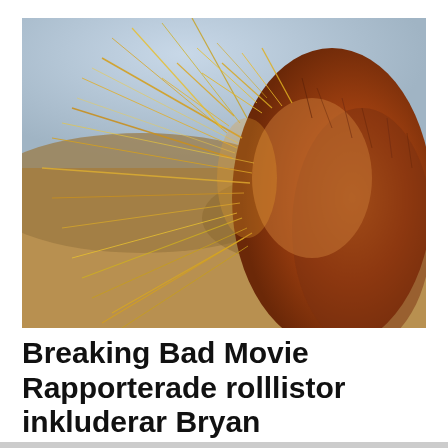[Figure (photo): Close-up macro photograph of a golden/orange cactus with long spines and fuzzy bristles, blurred warm earth-tone background with soft blue sky visible. The spines are illuminated with warm golden light.]
Breaking Bad Movie Rapporterade rolllistor inkluderar Bryan